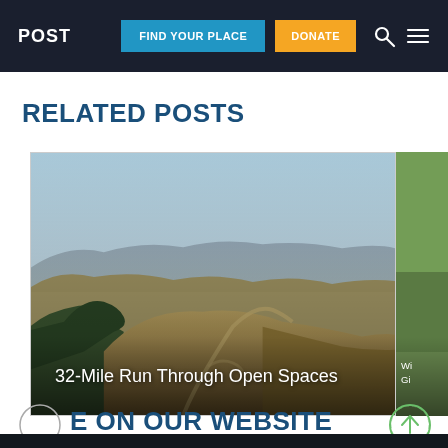POST | FIND YOUR PLACE | DONATE
RELATED POSTS
[Figure (photo): Aerial view of golden rolling hills with a winding dirt trail and trees, landscape photograph used as card thumbnail for '32-Mile Run Through Open Spaces']
32-Mile Run Through Open Spaces
[Figure (photo): Partial green grass/field photo, partially visible on right edge, with text 'Wi... Gi...' visible]
MORE ON OUR WEBSITE